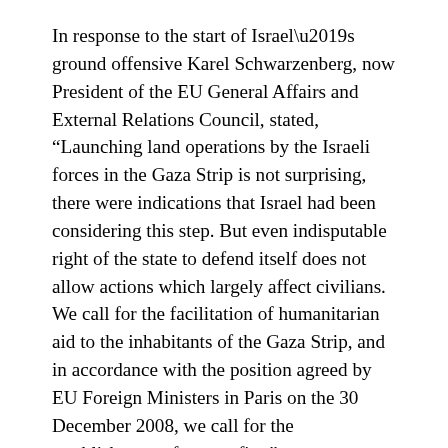In response to the start of Israel’s ground offensive Karel Schwarzenberg, now President of the EU General Affairs and External Relations Council, stated, “Launching land operations by the Israeli forces in the Gaza Strip is not surprising, there were indications that Israel had been considering this step. But even indisputable right of the state to defend itself does not allow actions which largely affect civilians. We call for the facilitation of humanitarian aid to the inhabitants of the Gaza Strip, and in accordance with the position agreed by EU Foreign Ministers in Paris on the 30 December 2008, we call for the establishment of a ceasefire.”
Almost at the same time the Czech Prime Minister’s spokesman, Jiri Potuznik, reportedly said about Israel’s land operations, “At the moment, from the perspective of the last days, we understand this step as a defensive, not offensive, action.” This statement was widely reported in the press in Israel and Europe as the official stance of the EU presidency.